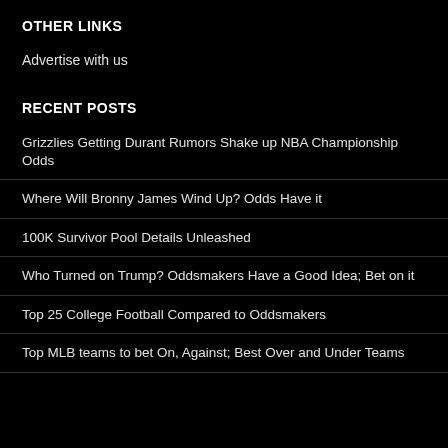OTHER LINKS
Advertise with us
RECENT POSTS
Grizzlies Getting Durant Rumors Shake up NBA Championship Odds
Where Will Bronny James Wind Up? Odds Have it
100K Survivor Pool Details Unleashed
Who Turned on Trump? Oddsmakers Have a Good Idea; Bet on it
Top 25 College Football Compared to Oddsmakers
Top MLB teams to bet On, Against; Best Over and Under Teams